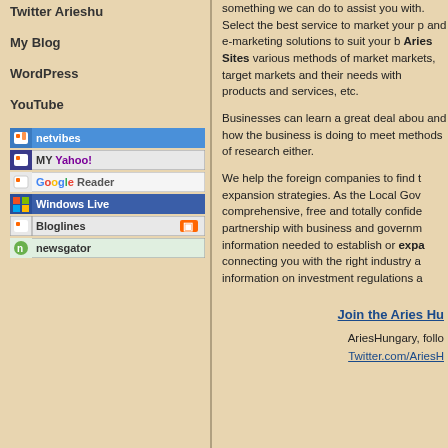Twitter Arieshu
My Blog
WordPress
YouTube
[Figure (other): RSS subscription badge buttons: Netvibes, My Yahoo!, Google Reader, Windows Live, Bloglines, Newsgator]
something we can do to assist you with. Select the best service to market your p and e-marketing solutions to suit your b Aries Sites various methods of market markets, target markets and their needs with products and services, etc. Businesses can learn a great deal abou and how the business is doing to meet methods of research either. We help the foreign companies to find t expansion strategies. As the Local Gov comprehensive, free and totally confide partnership with business and governm information needed to establish or expand connecting you with the right industry a information on investment regulations a
Join the Aries Hu
AriesHungary, follo Twitter.com/AriesH